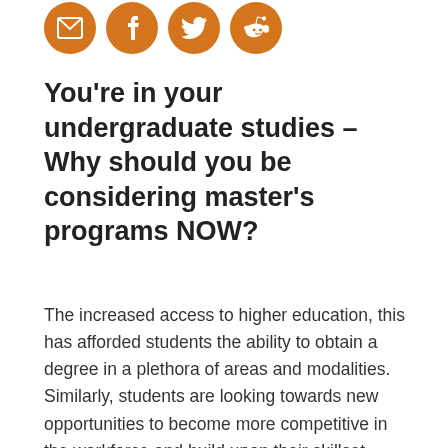[Figure (other): Four orange circular social sharing icons: email/envelope, Facebook, Twitter, Reddit]
You're in your undergraduate studies – Why should you be considering master's programs NOW?
The increased access to higher education, this has afforded students the ability to obtain a degree in a plethora of areas and modalities. Similarly, students are looking towards new opportunities to become more competitive in the workforce and build upon their skillset. With combined degree options (where students can complete a portion of their graduate studies while completing their undergraduate degree) and an increasing